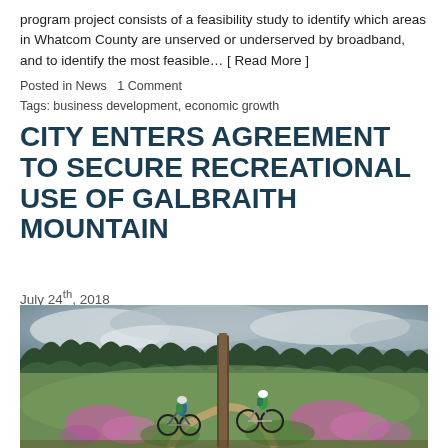program project consists of a feasibility study to identify which areas in Whatcom County are unserved or underserved by broadband, and to identify the most feasible… [ Read More ]
Posted in News   1 Comment
Tags: business development, economic growth
CITY ENTERS AGREEMENT TO SECURE RECREATIONAL USE OF GALBRAITH MOUNTAIN
July 24th, 2018
[Figure (photo): Two mountain bikers riding on a dirt trail through a wildflower meadow with pink fireweed flowers, surrounded by evergreen forest and a cloudy sky. A tall dead snag stands in the center of the image.]